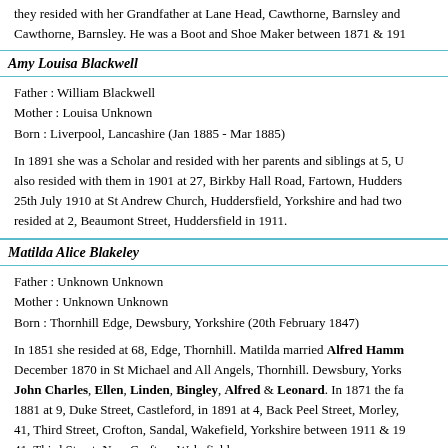they resided with her Grandfather at Lane Head, Cawthorne, Barnsley and Cawthorne, Barnsley. He was a Boot and Shoe Maker between 1871 & 191
Amy Louisa Blackwell
Father : William Blackwell
Mother : Louisa Unknown
Born : Liverpool, Lancashire (Jan 1885 - Mar 1885)
In 1891 she was a Scholar and resided with her parents and siblings at 5, U also resided with them in 1901 at 27, Birkby Hall Road, Fartown, Hudders 25th July 1910 at St Andrew Church, Huddersfield, Yorkshire and had two resided at 2, Beaumont Street, Huddersfield in 1911.
Matilda Alice Blakeley
Father : Unknown Unknown
Mother : Unknown Unknown
Born : Thornhill Edge, Dewsbury, Yorkshire (20th February 1847)
In 1851 she resided at 68, Edge, Thornhill. Matilda married Alfred Hamm December 1870 in St Michael and All Angels, Thornhill. Dewsbury, Yorks John Charles, Ellen, Linden, Bingley, Alfred & Leonard. In 1871 the fa 1881 at 9, Duke Street, Castleford, in 1891 at 4, Back Peel Street, Morley, 41, Third Street, Crofton, Sandal, Wakefield, Yorkshire between 1911 & 19 41, Third Street, New Crofton, Wakefield.
Elizabeth Jane Boase